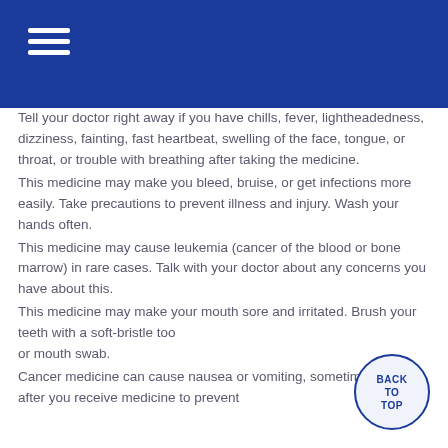Tell your doctor right away if you have chills, fever, lightheadedness, dizziness, fainting, fast heartbeat, swelling of the face, tongue, or throat, or trouble with breathing after taking the medicine.
This medicine may make you bleed, bruise, or get infections more easily. Take precautions to prevent illness and injury. Wash your hands often.
This medicine may cause leukemia (cancer of the blood or bone marrow) in rare cases. Talk with your doctor about any concerns you have about this.
This medicine may make your mouth sore and irritated. Brush your teeth with a soft-bristle toothbrush or mouth swab.
Cancer medicine can cause nausea or vomiting, sometimes even after you receive medicine to prevent